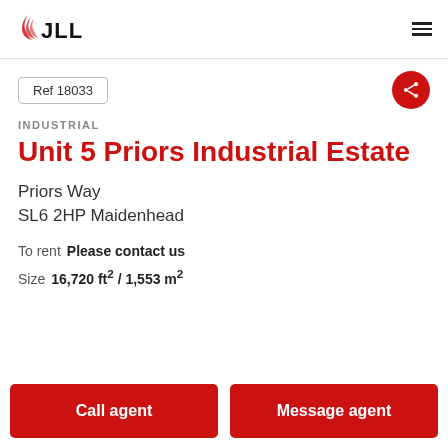JLL
Ref 18033
INDUSTRIAL
Unit 5 Priors Industrial Estate
Priors Way
SL6 2HP Maidenhead
To rent   Please contact us
Size   16,720 ft² / 1,553 m²
Call agent
Message agent